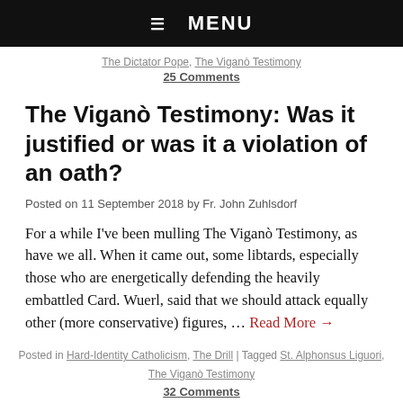☰ MENU
The Dictator Pope, The Viganò Testimony
25 Comments
The Viganò Testimony: Was it justified or was it a violation of an oath?
Posted on 11 September 2018 by Fr. John Zuhlsdorf
For a while I've been mulling The Viganò Testimony, as have we all. When it came out, some libtards, especially those who are energetically defending the heavily embattled Card. Wuerl, said that we should attack equally other (more conservative) figures, … Read More →
Posted in Hard-Identity Catholicism, The Drill | Tagged St. Alphonsus Liguori, The Viganò Testimony
32 Comments